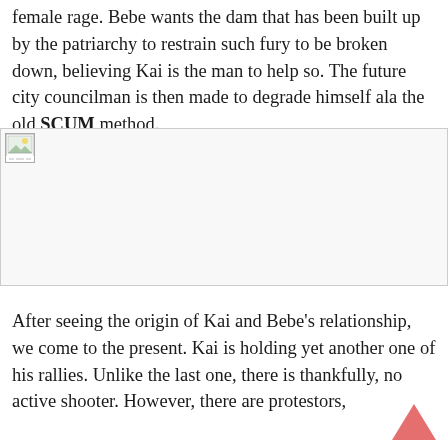female rage. Bebe wants the dam that has been built up by the patriarchy to restrain such fury to be broken down, believing Kai is the man to help so. The future city councilman is then made to degrade himself ala the old SCUM method.
[Figure (photo): A broken/missing image placeholder shown as a small icon with a landscape thumbnail indicator, in a large white/grey image block area.]
After seeing the origin of Kai and Bebe's relationship, we come to the present. Kai is holding yet another one of his rallies. Unlike the last one, there is thankfully, no active shooter. However, there are protestors,